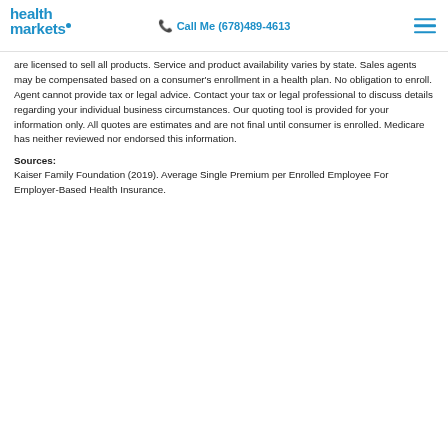health markets | Call Me (678)489-4613
are licensed to sell all products. Service and product availability varies by state. Sales agents may be compensated based on a consumer's enrollment in a health plan. No obligation to enroll. Agent cannot provide tax or legal advice. Contact your tax or legal professional to discuss details regarding your individual business circumstances. Our quoting tool is provided for your information only. All quotes are estimates and are not final until consumer is enrolled. Medicare has neither reviewed nor endorsed this information.
Sources:
Kaiser Family Foundation (2019). Average Single Premium per Enrolled Employee For Employer-Based Health Insurance.